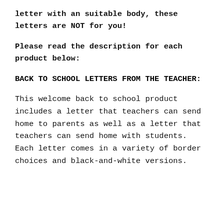letter with an suitable body, these letters are NOT for you!
Please read the description for each product below:
BACK TO SCHOOL LETTERS FROM THE TEACHER:
This welcome back to school product includes a letter that teachers can send home to parents as well as a letter that teachers can send home with students. Each letter comes in a variety of border choices and black-and-white versions.